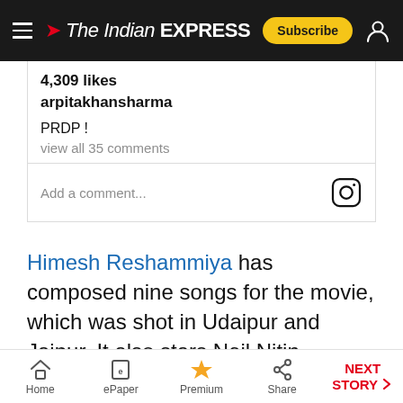The Indian EXPRESS
4,309 likes
arpitakhansharma
PRDP !
view all 35 comments
Add a comment...
Himesh Reshammiya has composed nine songs for the movie, which was shot in Udaipur and Jaipur. It also stars Neil Nitin Mukesh, Swara Bhaskar,
Home | ePaper | Premium | Share | NEXT STORY